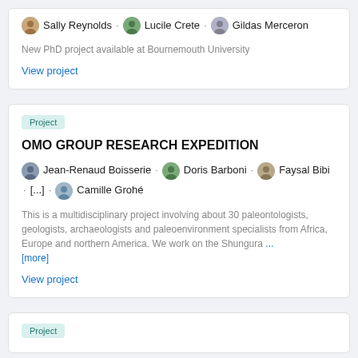Sally Reynolds · Lucile Crete · Gildas Merceron
New PhD project available at Bournemouth University
View project
Project
OMO GROUP RESEARCH EXPEDITION
Jean-Renaud Boisserie · Doris Barboni · Faysal Bibi · [...] · Camille Grohé
This is a multidisciplinary project involving about 30 paleontologists, geologists, archaeologists and paleoenvironment specialists from Africa, Europe and northern America. We work on the Shungura ... [more]
View project
Project